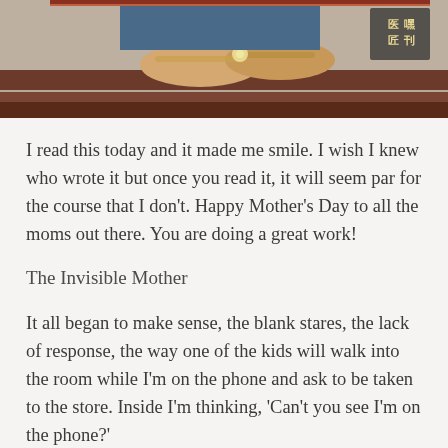[Figure (photo): Top portion of a photo showing a person seated on a wooden bench with sandals visible, and a small logo/stamp in the upper right corner with Chinese characters]
I read this today and it made me smile. I wish I knew who wrote it but once you read it, it will seem par for the course that I don't. Happy Mother's Day to all the moms out there. You are doing a great work!
The Invisible Mother
It all began to make sense, the blank stares, the lack of response, the way one of the kids will walk into the room while I'm on the phone and ask to be taken to the store. Inside I'm thinking, 'Can't you see I'm on the phone?'
Obviously not; no one can see if I'm on the phone, or